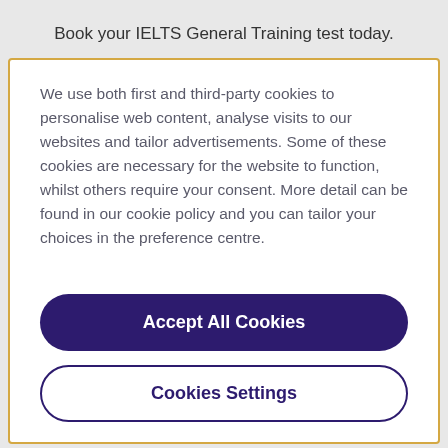Book your IELTS General Training test today.
We use both first and third-party cookies to personalise web content, analyse visits to our websites and tailor advertisements. Some of these cookies are necessary for the website to function, whilst others require your consent. More detail can be found in our cookie policy and you can tailor your choices in the preference centre.
Accept All Cookies
Cookies Settings